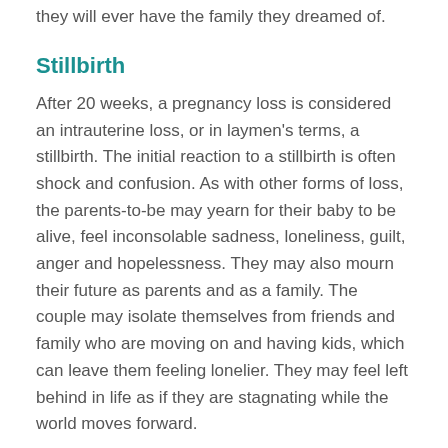they will ever have the family they dreamed of.
Stillbirth
After 20 weeks, a pregnancy loss is considered an intrauterine loss, or in laymen's terms, a stillbirth. The initial reaction to a stillbirth is often shock and confusion. As with other forms of loss, the parents-to-be may yearn for their baby to be alive, feel inconsolable sadness, loneliness, guilt, anger and hopelessness. They may also mourn their future as parents and as a family. The couple may isolate themselves from friends and family who are moving on and having kids, which can leave them feeling lonelier. They may feel left behind in life as if they are stagnating while the world moves forward.